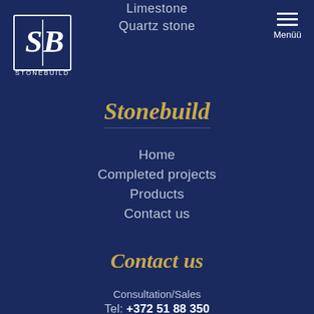[Figure (logo): Stonebuild company logo — SB monogram in white on dark blue with STONEBUILD text below]
Limestone
Quartz stone
Stonebuild
Home
Completed projects
Products
Contact us
Contact us
Consultation/Sales
Tel: +372 51 88 350
E-mail: raul@stonebuild.ee